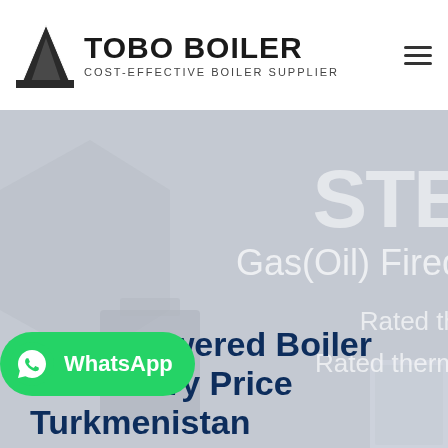[Figure (logo): TOBO BOILER logo with icon and text 'COST-EFFECTIVE BOILER SUPPLIER']
[Figure (screenshot): Hero banner with light grey background showing partial text 'STE...', 'Gas(Oil) Fired', 'Rated th...', 'Rated therm...' overlaid on a boiler image, with WhatsApp button and title '2t Oil Powered Boiler Machine Factory Price Turkmenistan']
2t Oil Powered Boiler Machine Factory Price Turkmenistan